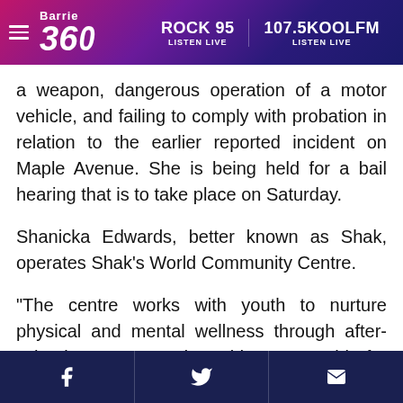Barrie 360 | ROCK 95 LISTEN LIVE | 107.5KOOLFM LISTEN LIVE
a weapon, dangerous operation of a motor vehicle, and failing to comply with probation in relation to the earlier reported incident on Maple Avenue. She is being held for a bail hearing that is to take place on Saturday.
Shanicka Edwards, better known as Shak, operates Shak’s World Community Centre.
“The centre works with youth to nurture physical and mental wellness through after-school programs and provides mentorship for Black youth in our city,” said the BIA, in a statement posted to Twitter.
HBI Ba...
Facebook | Twitter | Email